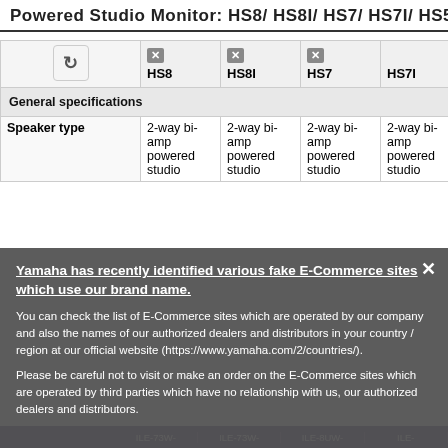Powered Studio Monitor: HS8/ HS8I/ HS7/ HS7I/ HS5/ HS5I
|  | HS8 | HS8I | HS7 | HS7I |
| --- | --- | --- | --- | --- |
| General specifications |  |  |  |  |
| Speaker type | 2-way bi-amp powered studio | 2-way bi-amp powered studio | 2-way bi-amp powered studio | 2-way bi-amp powered studio |
Yamaha has recently identified various fake E-Commerce sites which use our brand name.
You can check the list of E-Commerce sites which are operated by our company and also the names of our authorized dealers and distributors in your country / region at our official website (https://www.yamaha.com/2/countries/).
Please be careful not to visit or make an order on the E-Commerce sites which are operated by third parties which have no relationship with us, our authorized dealers and distributors.
ILE-73W-  ILE-73W-  ILE-8UW-  ILE-